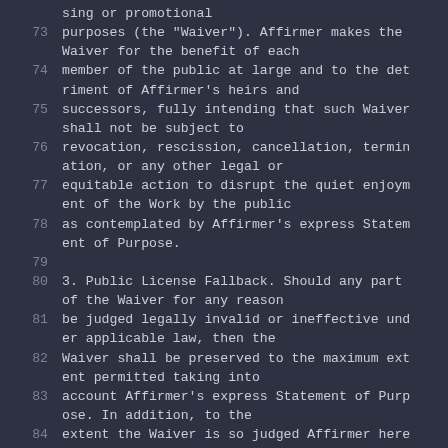(partial) sing or promotional
73  purposes (the "Waiver"). Affirmer makes the Waiver for the benefit of each
74  member of the public at large and to the detriment of Affirmer's heirs and
75  successors, fully intending that such Waiver shall not be subject to
76  revocation, rescission, cancellation, termination, or any other legal or
77  equitable action to disrupt the quiet enjoyment of the Work by the public
78  as contemplated by Affirmer's express Statement of Purpose.
79
80  3. Public License Fallback. Should any part of the Waiver for any reason
81  be judged legally invalid or ineffective under applicable law, then the
82  Waiver shall be preserved to the maximum extent permitted taking into
83  account Affirmer's express Statement of Purpose. In addition, to the
84  extent the Waiver is so judged Affirmer hereby g